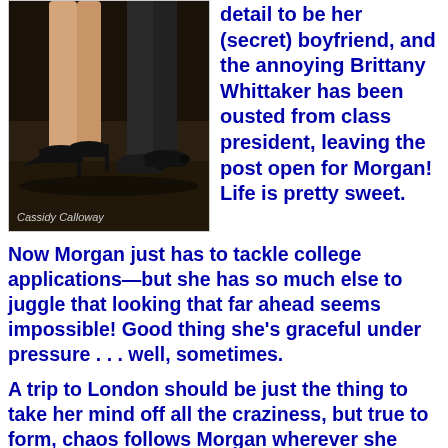[Figure (photo): Book cover or blog image showing a woman's legs in high heels and a man's dress shoes on a dark floor, with watermark text 'Cassidy Calloway']
detail to be her (secret) boyfriend, and the annoying Brittany Whittaker has been ousted from class president, leaving the post open for Morgan! Life is pretty sweet.
Now Morgan just has to tackle college applications—but she has so much else to juggle that looking that far ahead seems impossible! Good thing she's graceful under pressure . . . well, sometimes.
A trip to London should be just the thing to take her mind off all the craziness, but true to form, chaos follows Morgan wherever she goes—and the trip turns into an international disaster. Can she make it right? Or will she cause a royal mess?
My Thoughts: Morgan aka Tornado is back for another round of laughs and humiliation. I was so